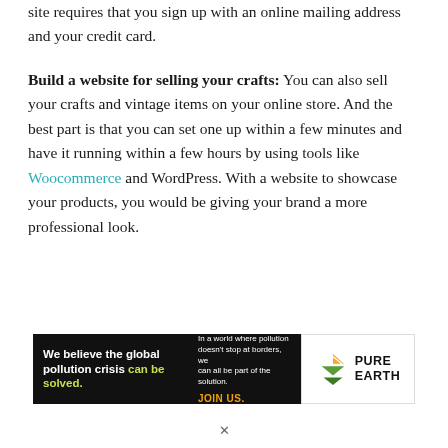site requires that you sign up with an online mailing address and your credit card.
Build a website for selling your crafts: You can also sell your crafts and vintage items on your online store. And the best part is that you can set one up within a few minutes and have it running within a few hours by using tools like Woocommerce and WordPress. With a website to showcase your products, you would be giving your brand a more professional look.
[Figure (infographic): Advertisement banner for Pure Earth. Left side has black background with white bold text: 'We believe the global pollution crisis can be solved.' where 'can be solved.' is in yellow-green. Right side of black panel has smaller white text: 'In a world where pollution doesn't stop at borders, we can all be part of the solution.' with 'JOIN US.' in orange below. Far right is the Pure Earth logo: a diamond/chevron shape in orange and green with 'PURE EARTH' in bold black text.]